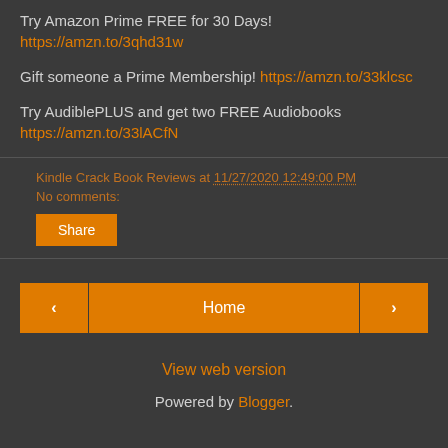Try Amazon Prime FREE for 30 Days! https://amzn.to/3qhd31w
Gift someone a Prime Membership! https://amzn.to/33klcsc
Try AudiblePLUS and get two FREE Audiobooks https://amzn.to/33lACfN
Kindle Crack Book Reviews at 11/27/2020 12:49:00 PM
No comments:
Share
‹    Home    ›
View web version
Powered by Blogger.